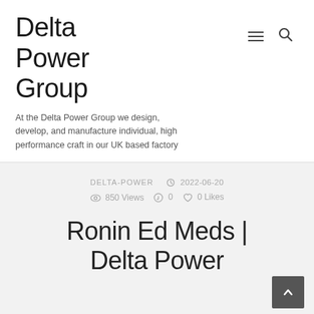Delta Power Group
At the Delta Power Group we design, develop, and manufacture individual, high performance craft in our UK based factory
DELTA-POWER  2022-06-20  850 Views  0  0 Likes
Ronin Ed Meds | Delta Power